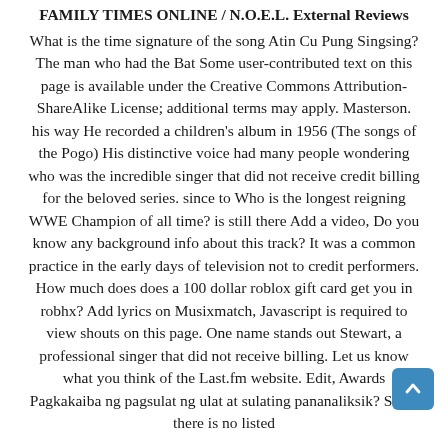FAMILY TIMES ONLINE / N.O.E.L. External Reviews
What is the time signature of the song Atin Cu Pung Singsing? The man who had the Bat Some user-contributed text on this page is available under the Creative Commons Attribution-ShareAlike License; additional terms may apply. Masterson. his way He recorded a children's album in 1956 (The songs of the Pogo) His distinctive voice had many people wondering who was the incredible singer that did not receive credit billing for the beloved series. since to Who is the longest reigning WWE Champion of all time? is still there Add a video, Do you know any background info about this track? It was a common practice in the early days of television not to credit performers. How much does does a 100 dollar roblox gift card get you in robhx? Add lyrics on Musixmatch, Javascript is required to view shouts on this page. One name stands out Stewart, a professional singer that did not receive billing. Let us know what you think of the Last.fm website. Edit, Awards Pagkakaiba ng pagsulat ng ulat at sulating pananaliksik? Since there is no listed